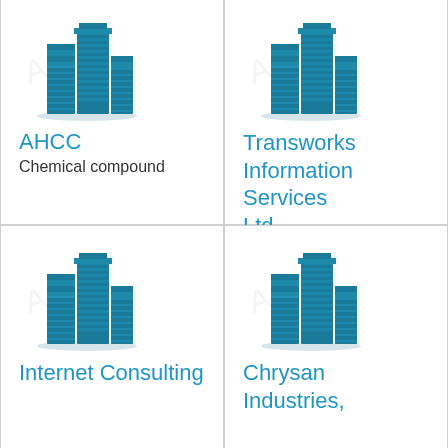Coconut Softwares Pvt. Ltd.
Halcyon Solutions Inc.
[Figure (illustration): Building/company icon illustration]
AHCC
Chemical compound
[Figure (illustration): Building/company icon illustration]
Transworks Information Services Ltd
[Figure (illustration): Building/company icon illustration]
Internet Consulting
[Figure (illustration): Building/company icon illustration]
Chrysan Industries,